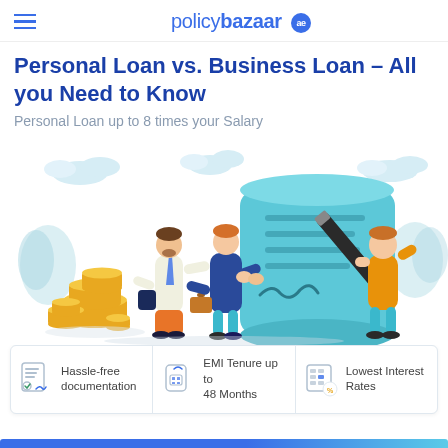policybazaar ae
Personal Loan vs. Business Loan – All you Need to Know
Personal Loan up to 8 times your Salary
[Figure (illustration): Illustrated scene showing two businessmen shaking hands, a third person signing a large document/scroll with a giant pen, coins stacked on the left, and clouds and foliage in the background. Light blue and teal color scheme.]
Hassle-free documentation
EMI Tenure up to 48 Months
Lowest Interest Rates